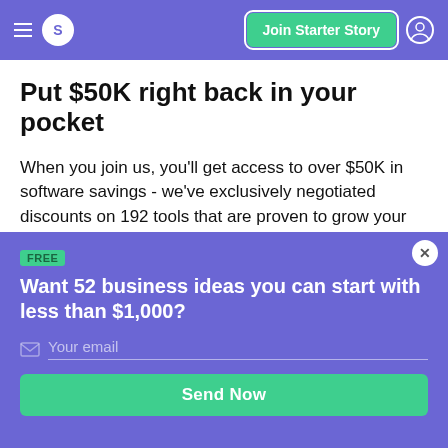S  Join Starter Story
Put $50K right back in your pocket
When you join us, you'll get access to over $50K in software savings - we've exclusively negotiated discounts on 192 tools that are proven to grow your business.
FREE
Want 52 business ideas you can start with less than $1,000?
Your email
Send Now